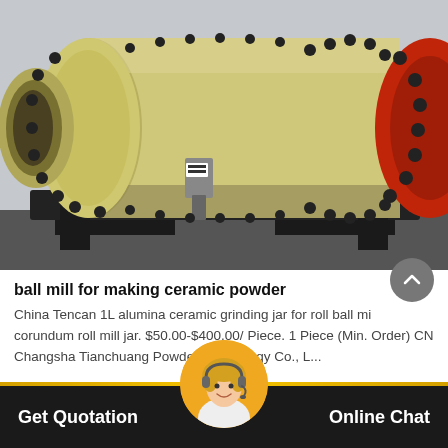[Figure (photo): Large industrial ball mill machine with cream/beige colored cylindrical body, black bolts, mounted on black steel frame, photographed outdoors at a manufacturing facility. Red gear visible on right side.]
ball mill for making ceramic powder
China Tencan 1L alumina ceramic grinding jar for roll ball mill corundum roll mill jar. $50.00-$400.00/ Piece. 1 Piece (Min. Order) CN Changsha Tianchuang Powder Technology Co., L...
[Figure (photo): Customer service agent (woman with headset, smiling) shown as circular avatar on orange oval button in the center of the bottom navigation bar.]
Get Quotation    Online Chat